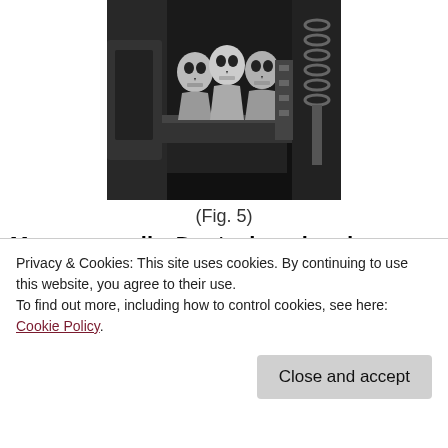[Figure (illustration): Black and white illustration showing three humanoid skull-headed figures standing in a row, with mechanical/industrial elements on the right side including springs and machinery.]
(Fig. 5)
More generally, Deutscher also draws our attention to some methodological principles or suggestions drawn from how Foucault, in fact, articulates his analyses. First, she argues
Privacy & Cookies: This site uses cookies. By continuing to use this website, you agree to their use.
To find out more, including how to control cookies, see here: Cookie Policy
categories and terms he provides us with to